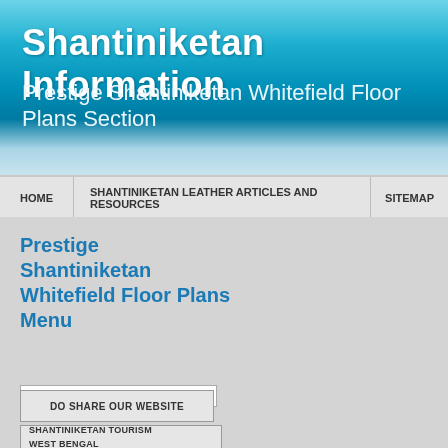Shantiniketan Information
Prestige Shantiniketan Whitefield Floor Plans Section
HOME | SHANTINIKETAN LEATHER ARTICLES AND RESOURCES | SITEMAP
Prestige Shantiniketan Whitefield Floor Plans Menu
Welcome to Shantiniketan I
[Figure (screenshot): Google search bar with Google logo and text input field]
DO SHARE OUR WEBSITE
SHANTINIKETAN TOURISM WEST BENGAL